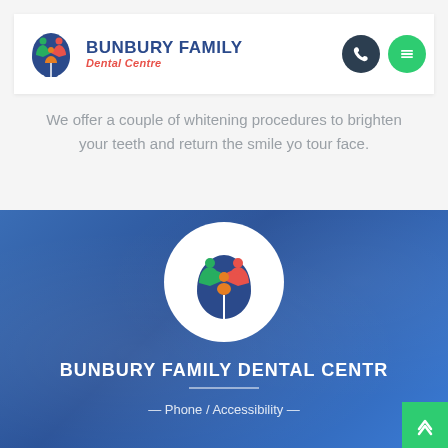[Figure (logo): Bunbury Family Dental Centre logo with tooth graphic containing three figures (green, red, orange) and text 'BUNBURY FAMILY Dental Centre']
We offer a couple of whitening procedures to brighten your teeth and return the smile yo tour face.
[Figure (logo): Bunbury Family Dental Centre circular logo on blue background — white circle with tooth shape and three family figures inside]
BUNBURY FAMILY DENTAL CENTRE